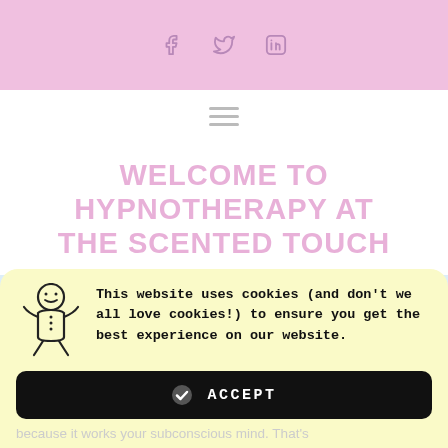Social icons: Facebook, Twitter, LinkedIn
[Figure (screenshot): Navigation hamburger menu icon (three horizontal lines)]
WELCOME TO HYPNOTHERAPY AT THE SCENTED TOUCH
[Figure (other): Light blue decorative band]
Why Hypnotherapy? (partially visible, faded behind cookie popup)
[Figure (other): Cookie consent popup with gingerbread man icon. Text: This website uses cookies (and don't we all love cookies!) to ensure you get the best experience on our website. ACCEPT button.]
because it works your subconscious mind. That's (partially visible at bottom)